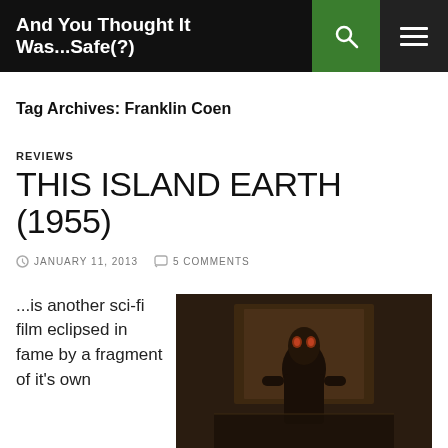And You Thought It Was...Safe(?)
Tag Archives: Franklin Coen
REVIEWS
THIS ISLAND EARTH (1955)
JANUARY 11, 2013   5 COMMENTS
...is another sci-fi film eclipsed in fame by a fragment of it's own
[Figure (photo): A dark atmospheric scene from the film This Island Earth (1955), showing an alien creature figure in shadow]